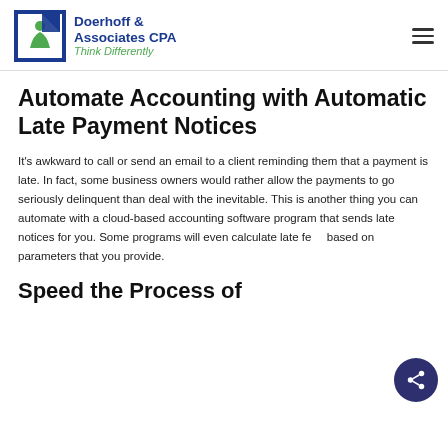Doerhoff & Associates CPA — Think Differently
Automate Accounting with Automatic Late Payment Notices
It's awkward to call or send an email to a client reminding them that a payment is late. In fact, some business owners would rather allow the payments to go seriously delinquent than deal with the inevitable. This is another thing you can automate with a cloud-based accounting software program that sends late notices for you. Some programs will even calculate late fees based on parameters that you provide.
Speed the Process of